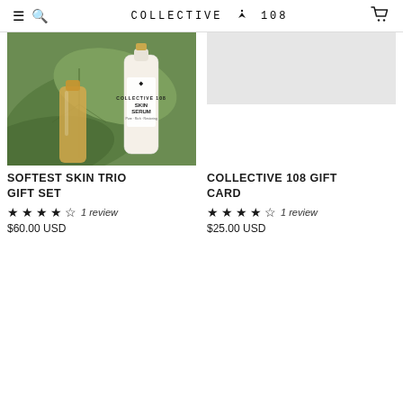COLLECTIVE 108
[Figure (photo): Skin serum bottle on green tropical leaf background]
SOFTEST SKIN TRIO GIFT SET
4.80 stars — 1 review
$60.00 USD
[Figure (photo): Grey placeholder rectangle for Collective 108 Gift Card]
COLLECTIVE 108 GIFT CARD
4.80 stars — 1 review
$25.00 USD